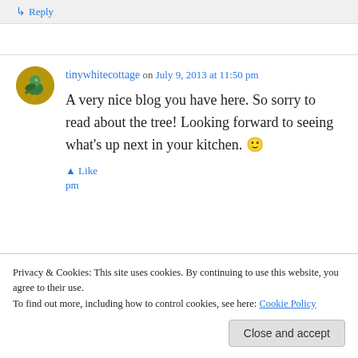↳ Reply
tinywhitecottage on July 9, 2013 at 11:50 pm
A very nice blog you have here. So sorry to read about the tree! Looking forward to seeing what's up next in your kitchen. 🙂
Privacy & Cookies: This site uses cookies. By continuing to use this website, you agree to their use. To find out more, including how to control cookies, see here: Cookie Policy
Close and accept
pm